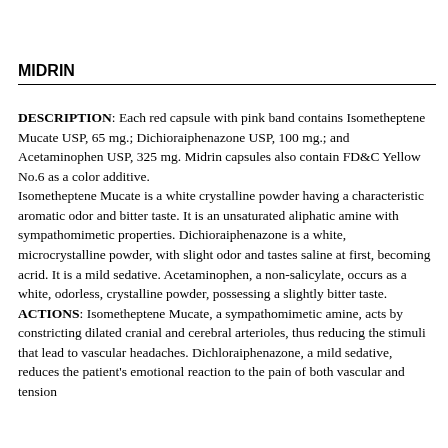MIDRIN
DESCRIPTION: Each red capsule with pink band contains Isometheptene Mucate USP, 65 mg.; Dichioraiphenazone USP, 100 mg.; and Acetaminophen USP, 325 mg. Midrin capsules also contain FD&C Yellow No.6 as a color additive.
Isometheptene Mucate is a white crystalline powder having a characteristic aromatic odor and bitter taste. It is an unsaturated aliphatic amine with sympathomimetic properties. Dichioraiphenazone is a white, microcrystalline powder, with slight odor and tastes saline at first, becoming acrid. It is a mild sedative. Acetaminophen, a non-salicylate, occurs as a white, odorless, crystalline powder, possessing a slightly bitter taste.
ACTIONS: Isometheptene Mucate, a sympathomimetic amine, acts by constricting dilated cranial and cerebral arterioles, thus reducing the stimuli that lead to vascular headaches. Dichloraiphenazone, a mild sedative, reduces the patient's emotional reaction to the pain of both vascular and tension